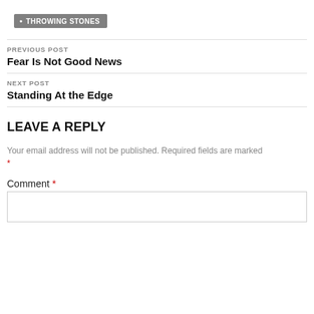THROWING STONES
PREVIOUS POST
Fear Is Not Good News
NEXT POST
Standing At the Edge
LEAVE A REPLY
Your email address will not be published. Required fields are marked *
Comment *